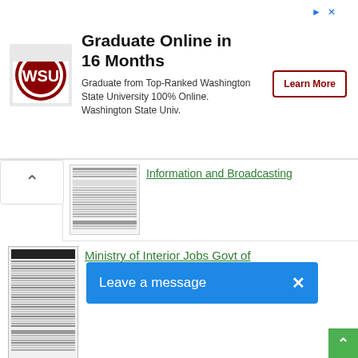[Figure (infographic): Advertisement banner for Washington State University online graduate program with WSU logo, headline 'Graduate Online in 16 Months', description text and Learn More button]
Information and Broadcasting
[Figure (screenshot): Thumbnail of Ministry of Interior Jobs document]
Ministry of Interior Jobs Govt of ... latest
Leave a message
[Figure (screenshot): Thumbnail of Islamabad High Court Jobs document]
Islamabad High Court Jobs Roll No Slip Test Date Interview Schedule